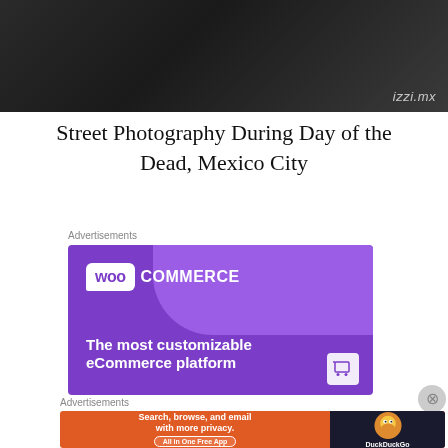[Figure (photo): Street photography image showing dark surface with 'izzi.mx' text visible in white]
Street Photography During Day of the Dead, Mexico City
Advertisements
[Figure (screenshot): WooCommerce advertisement banner with purple background. Text reads 'WOO COMMERCE - The most customizable eCommerce platform']
Advertisements
[Figure (screenshot): DuckDuckGo advertisement. Orange background left side: 'Search, browse, and email with more privacy. All in One Free App'. Dark right side with DuckDuckGo logo.]